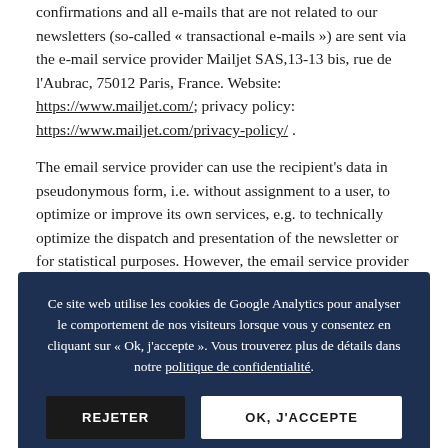confirmations and all e-mails that are not related to our newsletters (so-called « transactional e-mails ») are sent via the e-mail service provider Mailjet SAS,13-13 bis, rue de l'Aubrac, 75012 Paris, France. Website: https://www.mailjet.com/; privacy policy: https://www.mailjet.com/privacy-policy/ .
The email service provider can use the recipient's data in pseudonymous form, i.e. without assignment to a user, to optimize or improve its own services, e.g. to technically optimize the dispatch and presentation of the newsletter or for statistical purposes. However, the email service provider does not use the data of our newsletter recipients to write them down itself or to pass the data on to third parties.
Ce site web utilise les cookies de Google Analytics pour analyser le comportement de nos visiteurs lorsque vous y consentez en cliquant sur « Ok, j'accepte ». Vous trouverez plus de détails dans notre politique de confidentialité.
sized file which is downloaded from our server when the newsletter is opened or if you use a email service provider from